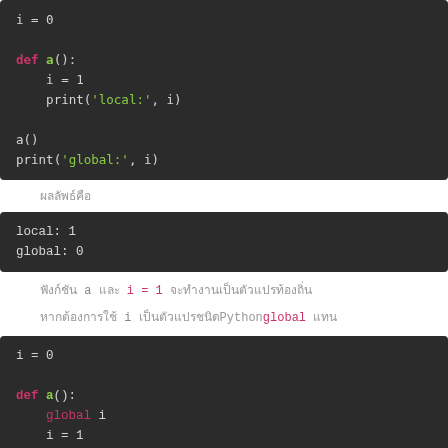[Figure (screenshot): Python code block showing i=0, def a(): with i=1 and print('local:', i), then a() and print('global:', i)]
ผลลัพธ์คือ
[Figure (screenshot): Output block showing: local: 1 / global: 0]
ฟังก์ชัน a และ i = 1 จะทำงานเป็นตัวแปรท้องถิ่น
หากต้องการใช้ i เป็นตัวแปรชนิดPythonใช้ global แทน
[Figure (screenshot): Python code block showing i=0, def a(): with global i, i=1, print('local:', i)]